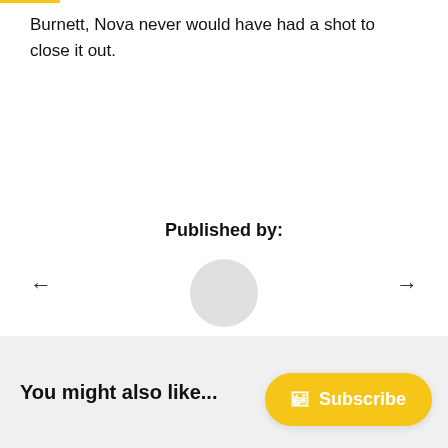Burnett, Nova never would have had a shot to close it out.
Published by:
[Figure (illustration): Navigation arrows (left and right) and a circular avatar placeholder image centered on the page]
[Figure (screenshot): Social share buttons: Facebook SHARE button (dark blue) and Twitter TWEET button (light blue)]
You might also like...
Subscribe